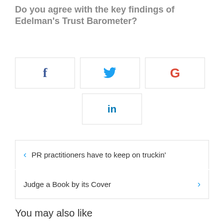Do you agree with the key findings of Edelman's Trust Barometer?
[Figure (infographic): Social share buttons: Facebook (f), Twitter (bird icon), Google+ (G), LinkedIn (in)]
< PR practitioners have to keep on truckin'
Judge a Book by its Cover >
You may also like